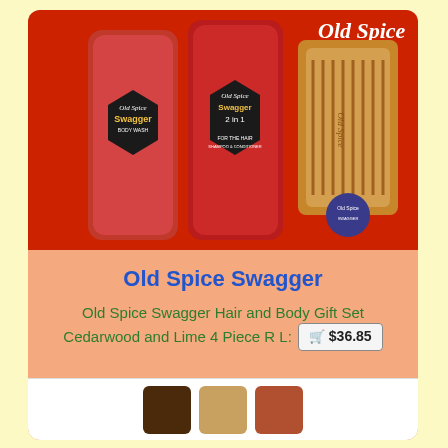[Figure (photo): Old Spice Swagger Hair and Body Gift Set product photo showing body wash bottle, 2-in-1 shampoo/conditioner bottle, a wooden comb, and a small deodorant, all in red Old Spice Swagger packaging]
Old Spice Swagger
Old Spice Swagger Hair and Body Gift Set Cedarwood and Lime 4 Piece R L:  🛒 $36.85
[Figure (photo): Thumbnail strip showing multiple product images of the Old Spice Swagger gift set items]